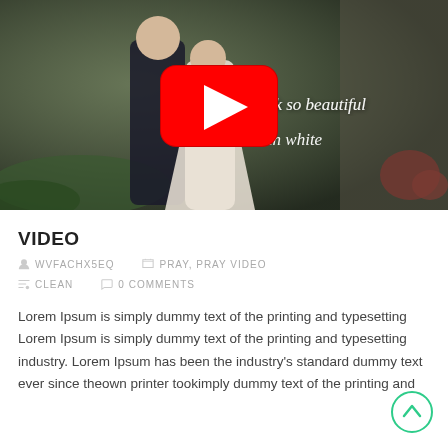[Figure (screenshot): YouTube video thumbnail showing a couple kissing at a wedding. The woman is in a white dress. Text overlay reads 'you look so beautiful in white'. A YouTube play button is centered on the image.]
VIDEO
WVFACHX5EQ    PRAY, PRAY VIDEO    CLEAN    0 COMMENTS
Lorem Ipsum is simply dummy text of the printing and typesetting Lorem Ipsum is simply dummy text of the printing and typesetting industry. Lorem Ipsum has been the industry's standard dummy text ever since theown printer tookimply dummy text of the printing and